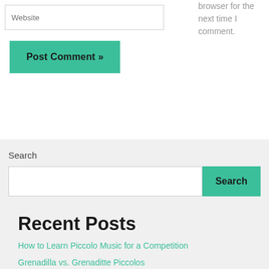[Figure (screenshot): Website input field (text box) with placeholder text 'Website']
browser for the next time I comment.
[Figure (screenshot): Green 'Post Comment »' button]
Search
[Figure (screenshot): Search input field with a green 'Search' button]
Recent Posts
How to Learn Piccolo Music for a Competition
Grenadilla vs. Grenaditte Piccolos